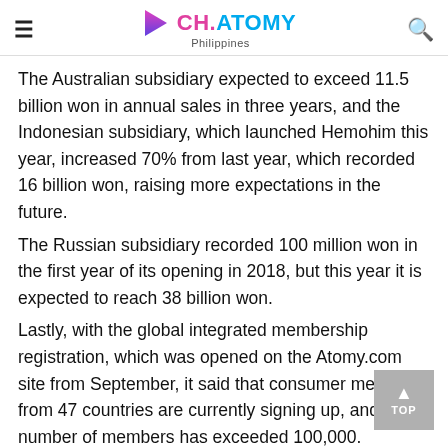CH.ATOMY Philippines
The Australian subsidiary expected to exceed 11.5 billion won in annual sales in three years, and the Indonesian subsidiary, which launched Hemohim this year, increased 70% from last year, which recorded 16 billion won, raising more expectations in the future.
The Russian subsidiary recorded 100 million won in the first year of its opening in 2018, but this year it is expected to reach 38 billion won.
Lastly, with the global integrated membership registration, which was opened on the Atomy.com site from September, it said that consumer members from 47 countries are currently signing up, and the number of members has exceeded 100,000.